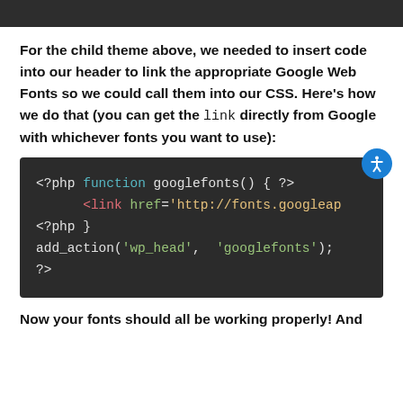For the child theme above, we needed to insert code into our header to link the appropriate Google Web Fonts so we could call them into our CSS. Here's how we do that (you can get the link directly from Google with whichever fonts you want to use):
[Figure (screenshot): Code block on dark background showing PHP code: <?php function googlefonts() { ?> <link href='http://fonts.googleapis... <?php } add_action('wp_head', 'googlefonts'); ?>]
Now your fonts should all be working properly! And